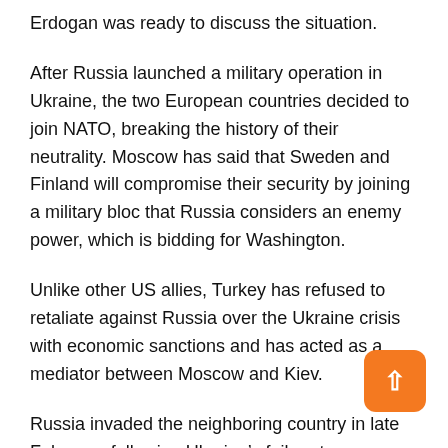Erdogan was ready to discuss the situation.
After Russia launched a military operation in Ukraine, the two European countries decided to join NATO, breaking the history of their neutrality. Moscow has said that Sweden and Finland will compromise their security by joining a military bloc that Russia considers an enemy power, which is bidding for Washington.
Unlike other US allies, Turkey has refused to retaliate against Russia over the Ukraine crisis with economic sanctions and has acted as a mediator between Moscow and Kiev.
Russia invaded the neighboring country in late February, following Ukraine’s failure to implement the